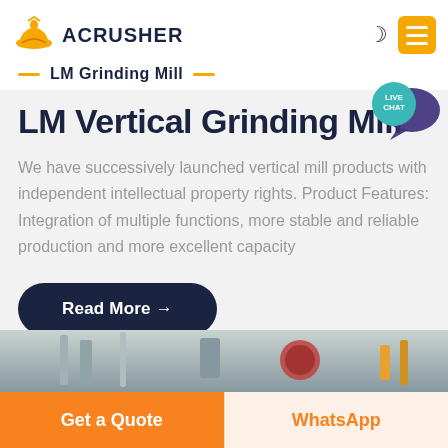ACRUSHER — LM Grinding Mill
LM Vertical Grinding Mill
We have successively launched vertical mill products with independent intellectual property rights. Product Features: Integration of multiple functions, more stable and reliable production and more excellent capacity
Read More →
[Figure (photo): Industrial machinery photo strip showing grinding mill equipment]
Get a Quote
WhatsApp